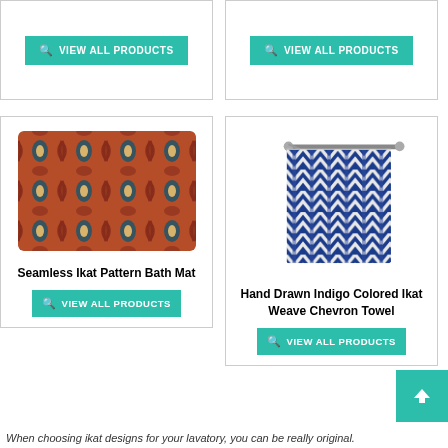[Figure (screenshot): Two product card panels side by side at the top, each showing a teal 'VIEW ALL PRODUCTS' button inside a bordered card]
[Figure (photo): Seamless Ikat Pattern Bath Mat - colorful red/orange/blue ikat patterned rug]
Seamless Ikat Pattern Bath Mat
[Figure (photo): Hand Drawn Indigo Colored Ikat Weave Chevron Towel - blue and white chevron towel hanging on a rod]
Hand Drawn Indigo Colored Ikat Weave Chevron Towel
When choosing ikat designs for your lavatory, you can be really original.